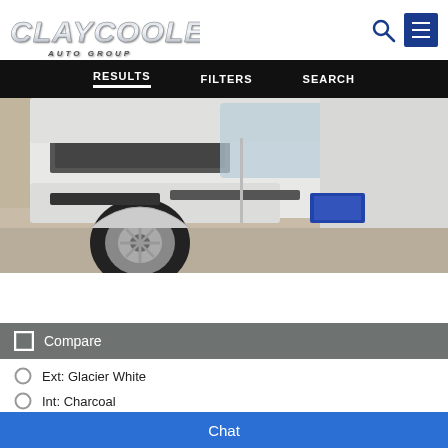[Figure (logo): Clay Cooley Auto Group logo in silver italic metallic lettering with AUTO GROUP subtitle]
RESULTS   FILTERS   SEARCH
[Figure (photo): Front-lower view of a white SUV/truck parked on pavement, showing front bumper, grille, wheel, and license plate area]
Compare
Ext: Glacier White
Int: Charcoal
VIN: 1N6ED1EJ5NN692362
Stock #: NN692362
Chat